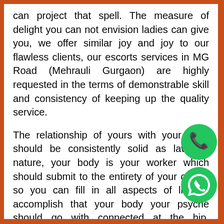can project that spell. The measure of delight you can not envision ladies can give you, we offer similar joy and joy to our flawless clients, our escorts services in MG Road (Mehrauli Gurgaon) are highly requested in the terms of demonstrable skill and consistency of keeping up the quality service.
The relationship of yours with your body should be consistently solid as laws of nature, your body is your worker which should submit to the entirety of your orders so you can fill in all aspects of life, to accomplish that your body your psyche should go with connected at the hip. Nothing comes free of charge in our life and suggests with your worker also. It requi... fulfillment as the energy towards life does not go
[Figure (illustration): Green phone/call icon circle button]
[Figure (illustration): Green WhatsApp icon circle button]